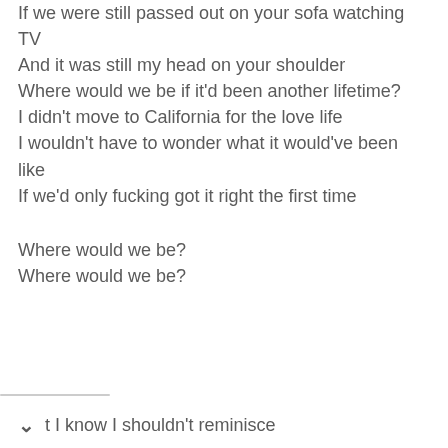If we were still passed out on your sofa watching TV
And it was still my head on your shoulder
Where would we be if it'd been another lifetime?
I didn't move to California for the love life
I wouldn't have to wonder what it would've been like
If we'd only fucking got it right the first time
Where would we be?
Where would we be?
t I know I shouldn't reminisce